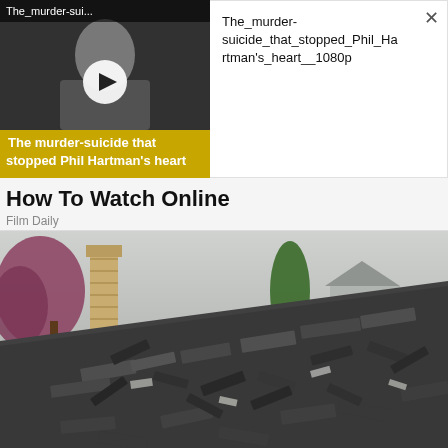[Figure (screenshot): Video thumbnail showing a black and white photo of a man with a yellow banner overlay reading 'The murder-suicide that stopped Phil Hartman's heart'. A play button circle is visible in the center. Top bar reads 'The_murder-sui...']
The_murder-suicide_that_stopped_Phil_Hartman's_heart__1080p
How To Watch Online
Film Daily
[Figure (photo): Photograph of a damaged residential roof with broken and lifted dark asphalt shingles in disarray. In the background there are trees with autumn/spring foliage, a brick chimney, and neighboring houses under an overcast sky.]